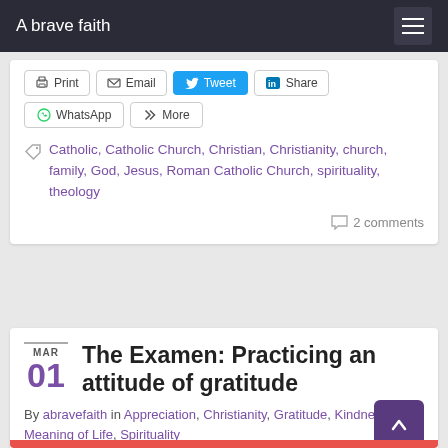A brave faith
[Figure (screenshot): Social share buttons: Print, Email, Tweet, Share (LinkedIn), WhatsApp, More]
Catholic, Catholic Church, Christian, Christianity, church, family, God, Jesus, Roman Catholic Church, spirituality, theology
2 comments
The Examen: Practicing an attitude of gratitude
By abravefaith in Appreciation, Christianity, Gratitude, Kindness, Meaning of Life, Spirituality